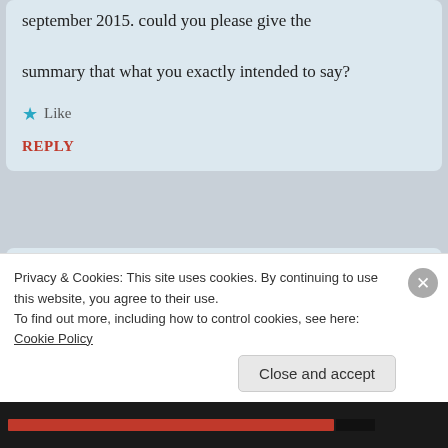september 2015. could you please give the summary that what you exactly intended to say?
★ Like
REPLY
KONDALA THARAKESWARA RAO
October 27, 2016 — 10:53 pm
Privacy & Cookies: This site uses cookies. By continuing to use this website, you agree to their use.
To find out more, including how to control cookies, see here: Cookie Policy
Close and accept